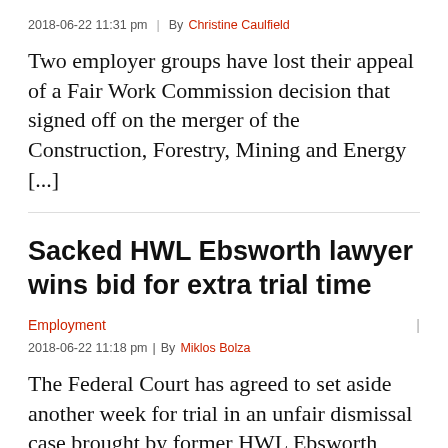2018-06-22 11:31 pm  |  By Christine Caulfield
Two employer groups have lost their appeal of a Fair Work Commission decision that signed off on the merger of the Construction, Forestry, Mining and Energy [...]
Sacked HWL Ebsworth lawyer wins bid for extra trial time
Employment  |
2018-06-22 11:18 pm  |  By Miklos Bolza
The Federal Court has agreed to set aside another week for trial in an unfair dismissal case brought by former HWL Ebsworth senior counsel Dr [...]